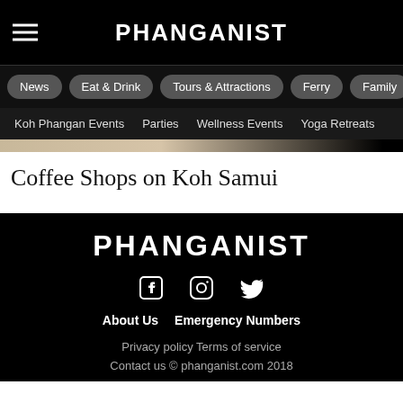PHANGANIST
News
Eat & Drink
Tours & Attractions
Ferry
Family
Koh Phangan Events
Parties
Wellness Events
Yoga Retreats
Coffee Shops on Koh Samui
PHANGANIST
About Us  Emergency Numbers
Privacy policy  Terms of service
Contact us © phanganist.com 2018